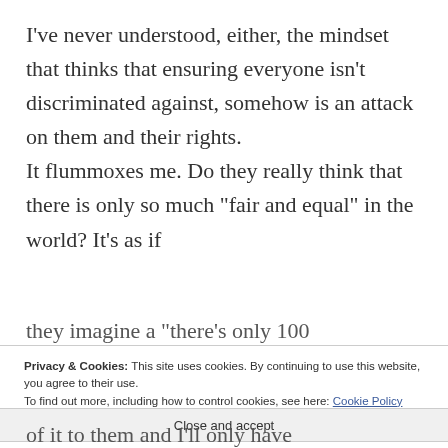I've never understood, either, the mindset that thinks that ensuring everyone isn't discriminated against, somehow is an attack on them and their rights.
It flummoxes me. Do they really think that there is only so much “fair and equal” in the world? It’s as if
Privacy & Cookies: This site uses cookies. By continuing to use this website, you agree to their use.
To find out more, including how to control cookies, see here: Cookie Policy
Close and accept
of it to them and I'll only have